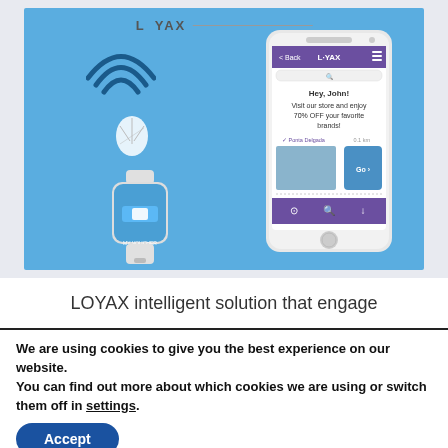[Figure (screenshot): LOYAX app screenshot showing a smartphone and smartwatch displaying the LOYAX loyalty app interface with beacon/WiFi icon. The phone shows a message: Hey, John! Visit our store and enjoy 70% OFF your favorite brands!, along with a voucher offer for Ponta Delgada. The smartwatch shows MY VOUCHER screen.]
LOYAX intelligent solution that engage
We are using cookies to give you the best experience on our website.
You can find out more about which cookies we are using or switch them off in settings.
Accept